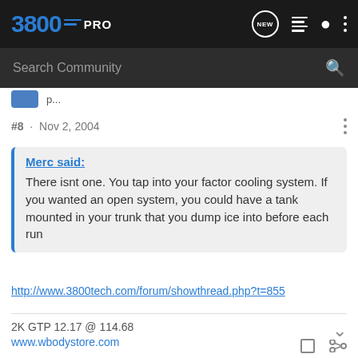3800PRO
Search Community
#8 · Nov 2, 2004
Merc said:
There isnt one. You tap into your factor cooling system. If you wanted an open system, you could have a tank mounted in your trunk that you dump ice into before each run
http://www.3800tech.com/forum/showthread.php?t=855
2K GTP 12.17 @ 114.68
www.wbodystore.com